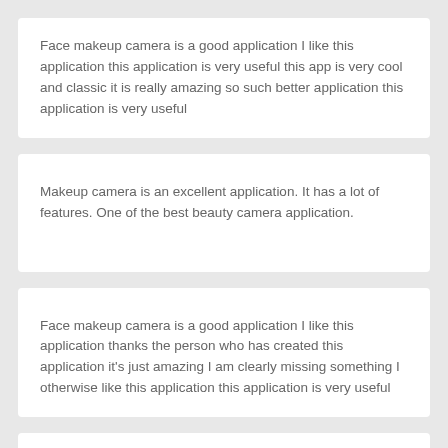Face makeup camera is a good application I like this application this application is very useful this app is very cool and classic it is really amazing so such better application this application is very useful
Makeup camera is an excellent application. It has a lot of features. One of the best beauty camera application.
Face makeup camera is a good application I like this application thanks the person who has created this application it's just amazing I am clearly missing something I otherwise like this application this application is very useful
Face Makeup application is very intertasting and important